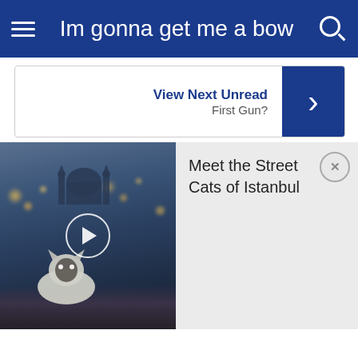Im gonna get me a bow
View Next Unread
First Gun?
[Figure (photo): Street cat in Istanbul with bokeh lights and mosque silhouette in background, video thumbnail with play button]
Meet the Street Cats of Istanbul